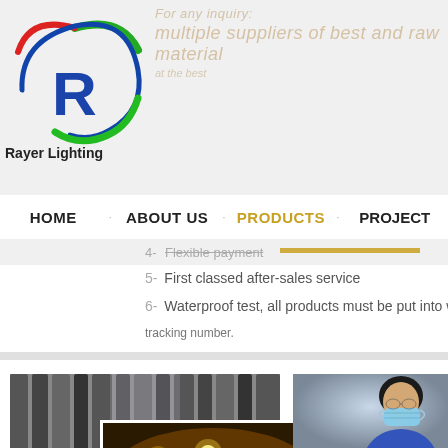[Figure (logo): Rayer Lighting company logo with blue R and green/red arc design]
Rayer Lighting
multiple suppliers of best and raw material
HOME  ABOUT US  PRODUCTS  PROJECT
4-  Flexible payment
5-  First classed after-sales service
6-  Waterproof test, all products must be put into water on
tracking number.
[Figure (photo): Three overlapping photos showing: industrial machinery/equipment, glowing string lights/fairy lights in warm yellow, and a person wearing a face mask and blue jacket]